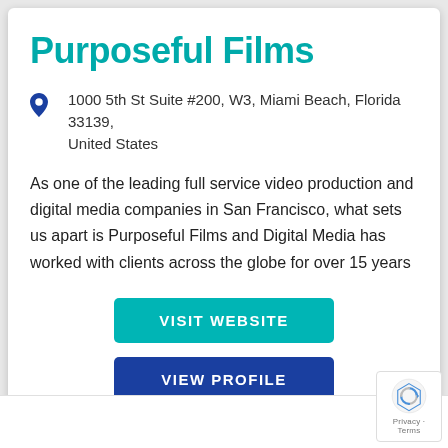Purposeful Films
1000 5th St Suite #200, W3, Miami Beach, Florida 33139, United States
As one of the leading full service video production and digital media companies in San Francisco, what sets us apart is Purposeful Films and Digital Media has worked with clients across the globe for over 15 years
VISIT WEBSITE
VIEW PROFILE